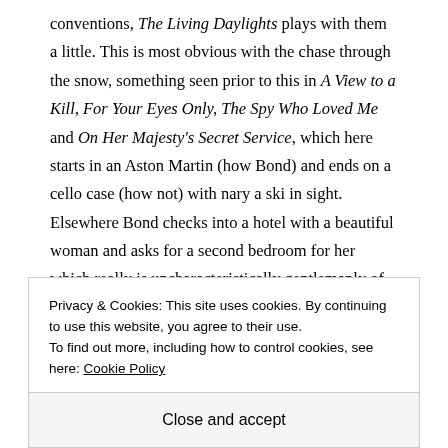conventions, The Living Daylights plays with them a little. This is most obvious with the chase through the snow, something seen prior to this in A View to a Kill, For Your Eyes Only, The Spy Who Loved Me and On Her Majesty's Secret Service, which here starts in an Aston Martin (how Bond) and ends on a cello case (how not) with nary a ski in sight. Elsewhere Bond checks into a hotel with a beautiful woman and asks for a second bedroom for her which really is uncharacteristically gentlemanly of Fleming's famous gentleman spy, although the lack of sex scenes in
Privacy & Cookies: This site uses cookies. By continuing to use this website, you agree to their use.
To find out more, including how to control cookies, see here: Cookie Policy
Close and accept